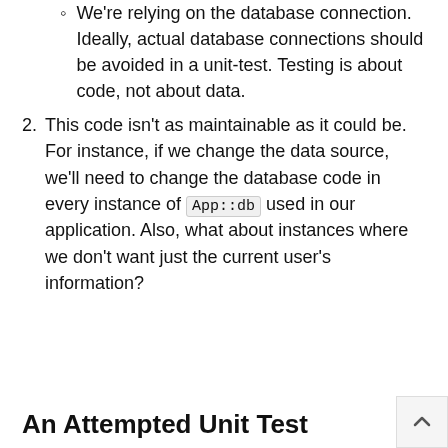We're relying on the database connection. Ideally, actual database connections should be avoided in a unit-test. Testing is about code, not about data.
This code isn't as maintainable as it could be. For instance, if we change the data source, we'll need to change the database code in every instance of App::db used in our application. Also, what about instances where we don't want just the current user's information?
An Attempted Unit Test